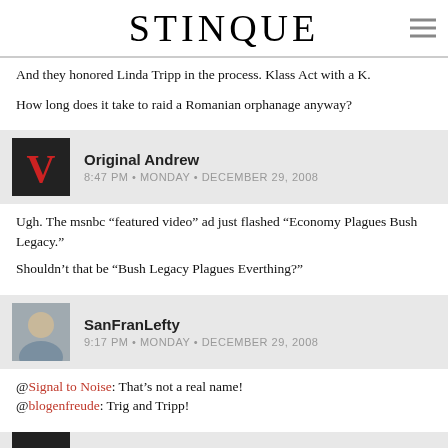STINQUE
And they honored Linda Tripp in the process. Klass Act with a K.
How long does it take to raid a Romanian orphanage anyway?
Original Andrew
8:47 PM • MONDAY • DECEMBER 29, 2008
Ugh. The msnbc “featured video” ad just flashed “Economy Plagues Bush Legacy.”

Shouldn’t that be “Bush Legacy Plagues Everthing?”
SanFranLefty
9:17 PM • MONDAY • DECEMBER 29, 2008
@Signal to Noise: That’s not a real name!
@blogenfreude: Trig and Tripp!
Original Andrew